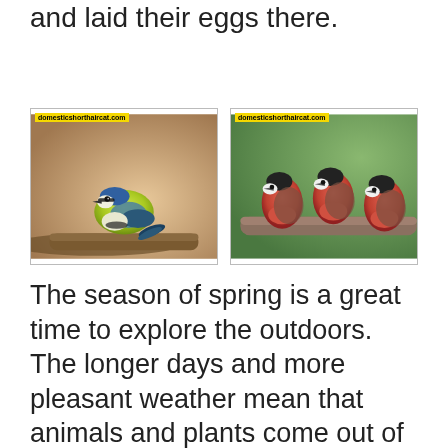and laid their eggs there.
[Figure (photo): A blue tit bird perched on a branch, showing yellow-green breast and blue-grey wings, with watermark 'domesticshorthaircat.com']
[Figure (photo): Three small red-breasted birds (bullfinches) perched on a branch, with watermark 'domesticshorthaircat.com']
The season of spring is a great time to explore the outdoors. The longer days and more pleasant weather mean that animals and plants come out of their winter hibernation. Spring is the best time for outdoor activities such as hiking, camping, and meditation. As a bonus, many animals will come out of hibernation to start